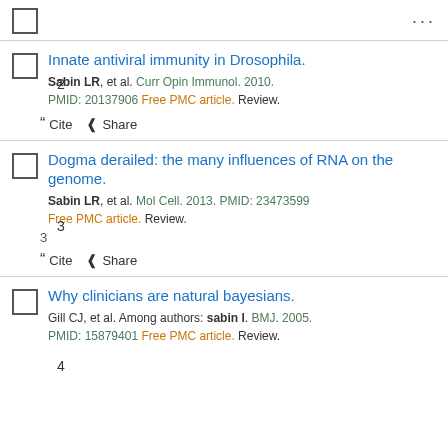...
Innate antiviral immunity in Drosophila.
Sabin LR, et al. Curr Opin Immunol. 2010. PMID: 20137906 Free PMC article. Review.
Dogma derailed: the many influences of RNA on the genome.
Sabin LR, et al. Mol Cell. 2013. PMID: 23473599 Free PMC article. Review.
Why clinicians are natural bayesians.
Gill CJ, et al. Among authors: sabin l. BMJ. 2005. PMID: 15879401 Free PMC article. Review.